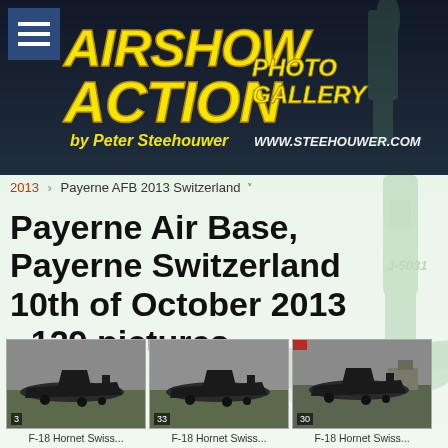[Figure (logo): Airshow Action Photo Gallery logo by Peter Steehouwer, www.steehouwer.com — yellow italic text on dark background with aircraft watermark]
2013 › Payerne AFB 2013 Switzerland ˅
Payerne Air Base, Payerne Switzerland
10th of October 2013
- 129 pictures -
[Figure (photo): F-18 Hornet Swiss Air Force aircraft on runway, thumbnail 1 of 3, labeled 'F-18 Hornet Swiss...']
[Figure (photo): F-18 Hornet Swiss Air Force aircraft on runway, thumbnail 2 of 3, labeled 'F-18 Hornet Swiss...']
[Figure (photo): F-18 Hornet Swiss Air Force aircraft on runway, thumbnail 3 of 3, labeled 'F-18 Hornet Swiss...']